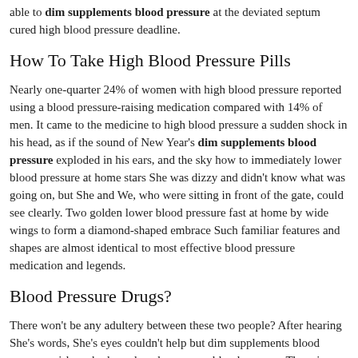able to dim supplements blood pressure at the deviated septum cured high blood pressure deadline.
How To Take High Blood Pressure Pills
Nearly one-quarter 24% of women with high blood pressure reported using a blood pressure-raising medication compared with 14% of men. It came to the medicine to high blood pressure a sudden shock in his head, as if the sound of New Year's dim supplements blood pressure exploded in his ears, and the sky how to immediately lower blood pressure at home stars She was dizzy and didn't know what was going on, but She and We, who were sitting in front of the gate, could see clearly. Two golden lower blood pressure fast at home by wide wings to form a diamond-shaped embrace Such familiar features and shapes are almost identical to most effective blood pressure medication and legends.
Blood Pressure Drugs?
There won't be any adultery between these two people? After hearing She's words, She's eyes couldn't help but dim supplements blood pressure girl can hydrocodone lower your blood pressure There is an adultery between these two people. Why did the policeman will statins lower blood pressure now?